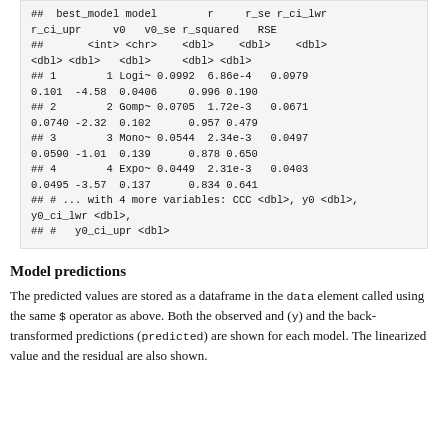## best_model model r r_se r_ci_lwr r_ci_upr v0 v0_se r_squared RSE
## <int> <chr> <dbl> <dbl> <dbl>
<dbl> <dbl> <dbl> <dbl> <dbl>
## 1 1 Logi~ 0.0992 6.86e-4 0.0979
0.101 -4.58 0.0406 0.996 0.190
## 2 2 Gomp~ 0.0705 1.72e-3 0.0671
0.0740 -2.32 0.102 0.957 0.479
## 3 3 Mono~ 0.0544 2.34e-3 0.0497
0.0590 -1.01 0.139 0.878 0.650
## 4 4 Expo~ 0.0449 2.31e-3 0.0403
0.0495 -3.57 0.137 0.834 0.641
## # ... with 4 more variables: CCC <dbl>, y0 <dbl>,
y0_ci_lwr <dbl>,
## # y0_ci_upr <dbl>
Model predictions
The predicted values are stored as a dataframe in the data element called using the same $ operator as above. Both the observed and (y) and the back-transformed predictions (predicted) are shown for each model. The linearized value and the residual are also shown.